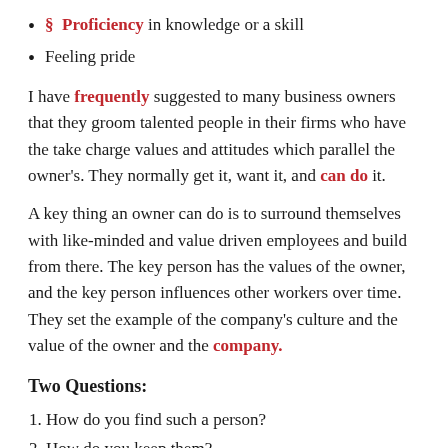§ Proficiency in knowledge or a skill
Feeling pride
I have frequently suggested to many business owners that they groom talented people in their firms who have the take charge values and attitudes which parallel the owner's. They normally get it, want it, and can do it.
A key thing an owner can do is to surround themselves with like-minded and value driven employees and build from there. The key person has the values of the owner, and the key person influences other workers over time. They set the example of the company's culture and the value of the owner and the company.
Two Questions:
How do you find such a person?
How do you keep them?